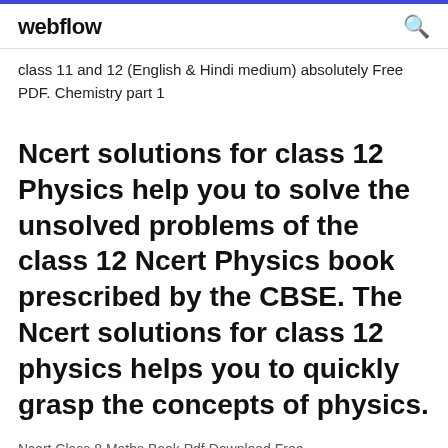webflow
class 11 and 12 (English & Hindi medium) absolutely Free PDF. Chemistry part 1
Ncert solutions for class 12 Physics help you to solve the unsolved problems of the class 12 Ncert Physics book prescribed by the CBSE. The Ncert solutions for class 12 physics helps you to quickly grasp the concepts of physics.
Ncert Class 8 Maths Book Pdf Download Free